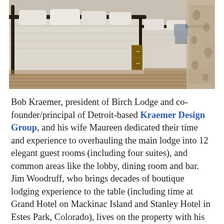[Figure (photo): Interior photo of a hotel or lodge guest room showing two iron-frame beds with light grey/cream bedding and pillows, wood plank flooring, a nightstand between the beds, and floral curtains on the right side.]
Bob Kraemer, president of Birch Lodge and co-founder/principal of Detroit-based Kraemer Design Group, and his wife Maureen dedicated their time and experience to overhauling the main lodge into 12 elegant guest rooms (including four suites), and common areas like the lobby, dining room and bar. Jim Woodruff, who brings decades of boutique lodging experience to the table (including time at Grand Hotel on Mackinac Island and Stanley Hotel in Estes Park, Colorado), lives on the property with his wife Carol, managing the daily operations.